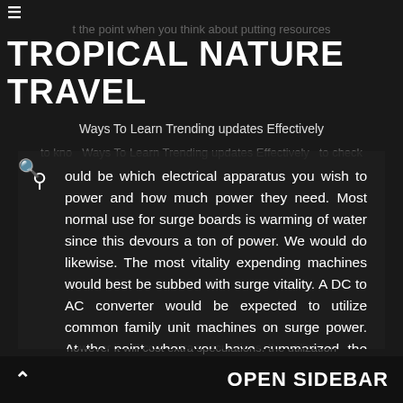≡
t the point when you think about putting resources
TROPICAL NATURE TRAVEL
to kno  Ways To Learn Trending updates Effectively  to check
ould be which electrical apparatus you wish to power and how much power they need. Most normal use for surge boards is warming of water since this devours a ton of power. We would do likewise. The most vitality expending machines would best be subbed with surge vitality. A DC to AC converter would be expected to utilize common family unit machines on surge power. At the point when you have summarized the absolute wattage of your generally utilized machines, yet a surge board equipped for delivering a high wattage. This will guarantee that the surge board you will utilize will have enough power yields for your vitality needs. A surge tracker will give most extreme vitality yield,
however it will cost extra speculations. the utilization
∧  OPEN SIDEBAR
of such a gadget would be prudent for bigger scope